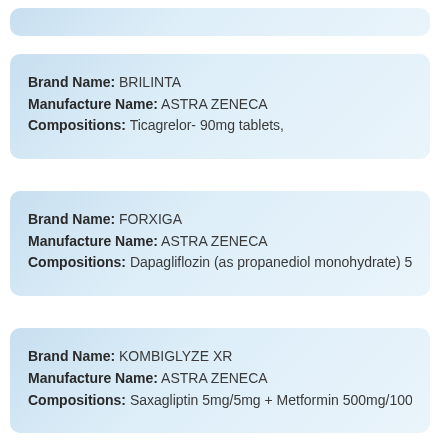[Partial card at top, cut off]
Brand Name: BRILINTA | Manufacture Name: ASTRA ZENECA | Compositions: Ticagrelor- 90mg tablets,
Brand Name: FORXIGA | Manufacture Name: ASTRA ZENECA | Compositions: Dapagliflozin (as propanediol monohydrate) 5mg/10mg
Brand Name: KOMBIGLYZE XR | Manufacture Name: ASTRA ZENECA | Compositions: Saxagliptin 5mg/5mg + Metformin 500mg/1000mg tablets
Brand Name: OTRIVELA [partial]